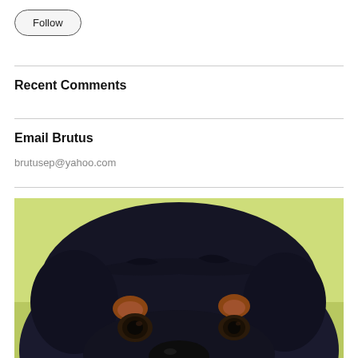Follow
Recent Comments
Email Brutus
brutusep@yahoo.com
[Figure (photo): Close-up photo of a black Rottweiler dog's face with brown markings above the eyes, set against a light green background]